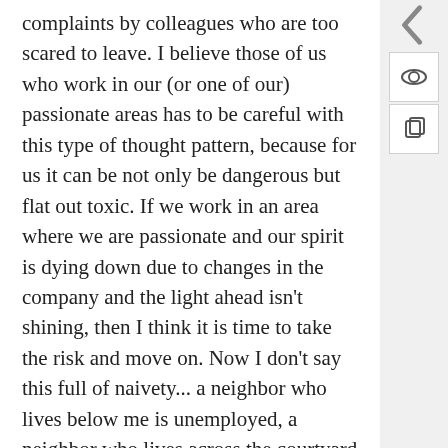complaints by colleagues who are too scared to leave. I believe those of us who work in our (or one of our) passionate areas has to be careful with this type of thought pattern, because for us it can be not only be dangerous but flat out toxic. If we work in an area where we are passionate and our spirit is dying down due to changes in the company and the light ahead isn't shining, then I think it is time to take the risk and move on. Now I don't say this full of naivety... a neighbor who lives below me is unemployed, a neighbor who lives across the courtyard is unemployed, and a neighbor who lives kitty-corner from me is too. However, I do know experience, education, contacts, personality, area of interest, and skill set can open an